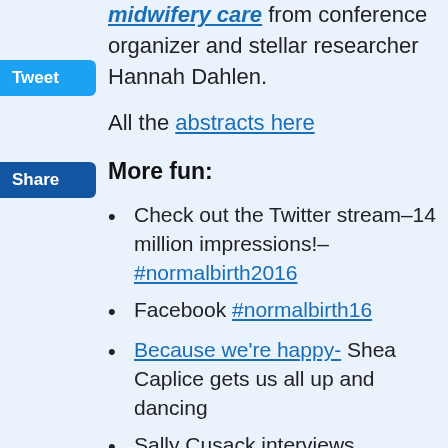midwifery care from conference organizer and stellar researcher Hannah Dahlen.
All the abstracts here
More fun:
Check out the Twitter stream–14 million impressions!– #normalbirth2016
Facebook #normalbirth16
Because we're happy- Shea Caplice gets us all up and dancing
Sally Cusack interviews participants for Pregnancy Birth and Beyond